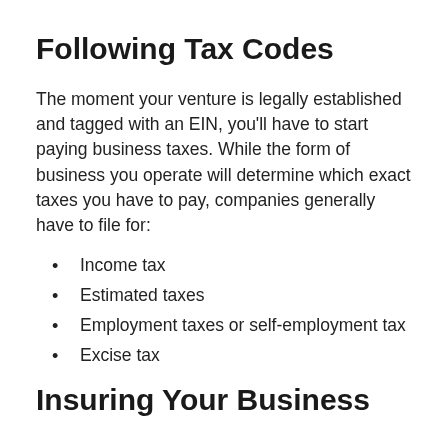Following Tax Codes
The moment your venture is legally established and tagged with an EIN, you'll have to start paying business taxes. While the form of business you operate will determine which exact taxes you have to pay, companies generally have to file for:
Income tax
Estimated taxes
Employment taxes or self-employment tax
Excise tax
Insuring Your Business